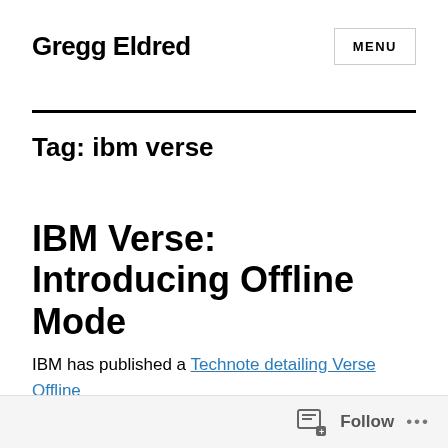Gregg Eldred
Tag: ibm verse
IBM Verse: Introducing Offline Mode
IBM has published a Technote detailing Verse Offline
Follow ...